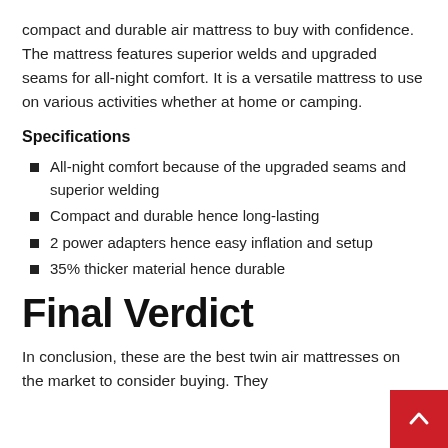compact and durable air mattress to buy with confidence. The mattress features superior welds and upgraded seams for all-night comfort. It is a versatile mattress to use on various activities whether at home or camping.
Specifications
All-night comfort because of the upgraded seams and superior welding
Compact and durable hence long-lasting
2 power adapters hence easy inflation and setup
35% thicker material hence durable
Final Verdict
In conclusion, these are the best twin air mattresses on the market to consider buying. They